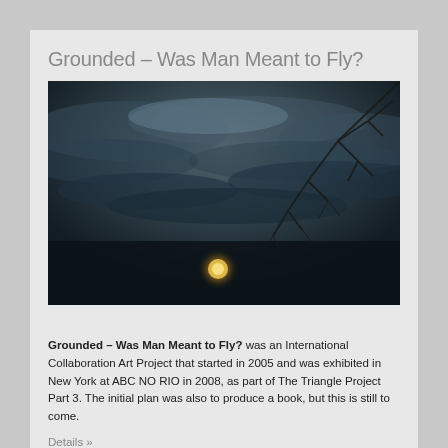Grounded – Was Man Meant to Fly?
[Figure (photo): Dark moody sky photograph with overcast clouds, bare tree branches in upper right corner, and a warm glowing orb of light (moon or lamp) near the bottom center of the image.]
Grounded – Was Man Meant to Fly? was an International Collaboration Art Project that started in 2005 and was exhibited in New York at ABC NO RIO in 2008, as part of The Triangle Project Part 3. The initial plan was also to produce a book, but this is still to come.
Details »
Published on October 16, 2012 08:43.
Filed under: Curator, Performance, Projects 1999 – 2015